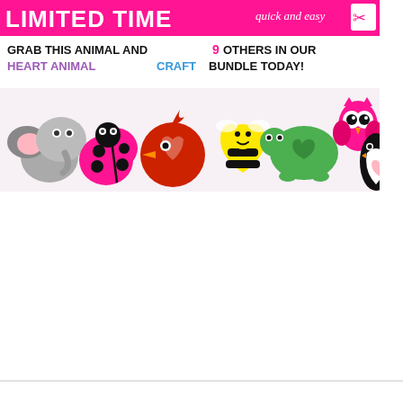[Figure (illustration): Promotional banner for a Heart Animal Craft Bundle. Top pink bar reads 'LIMITED TIME' in white bold text with 'quick and easy' in italic script. Below reads 'GRAB THIS ANIMAL AND 9 OTHERS IN OUR HEART ANIMAL CRAFT BUNDLE TODAY!' with number 9 in pink and 'HEART ANIMAL' in purple, 'CRAFT' in blue. Bottom half shows cartoon paper craft animals made from heart shapes: a gray elephant, pink ladybug, red cardinal/bird, yellow bee, green turtle, pink owl, and black penguin, all made from heart-shaped paper cutouts.]